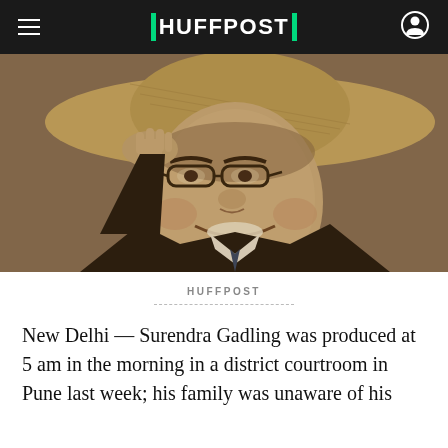HUFFPOST
[Figure (photo): Sepia-toned black and white photograph of Surendra Gadling, a man wearing glasses and a wide-brim straw hat, smiling, dressed in a dark suit with white shirt and tie, with his hand raised to the brim of the hat.]
HUFFPOST
New Delhi — Surendra Gadling was produced at 5 am in the morning in a district courtroom in Pune last week; his family was unaware of his